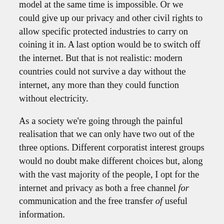model at the same time is impossible. Or we could give up our privacy and other civil rights to allow specific protected industries to carry on coining it in. A last option would be to switch off the internet. But that is not realistic: modern countries could not survive a day without the internet, any more than they could function without electricity.
As a society we're going through the painful realisation that we can only have two out of the three options. Different corporatist interest groups would no doubt make different choices but, along with the vast majority of the people, I opt for the internet and privacy as both a free channel for communication and the free transfer of useful information.
Like any social change (the abolition of slavery, universal suffrage), this is also accompanied by heated arguments, legal threats and repression, and lobbyist propaganda. But historically all this sound and fury will signify…. precisely nothing. Surely at some point basic civil rights will make a comeback, upheld by the legislature